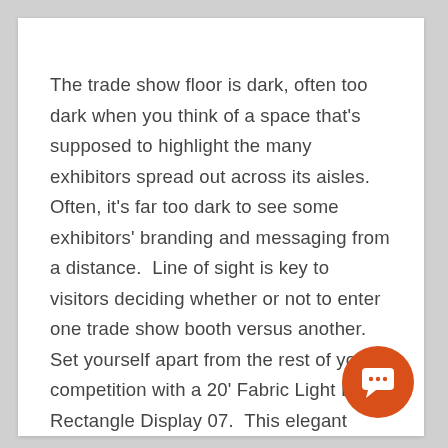The trade show floor is dark, often too dark when you think of a space that's supposed to highlight the many exhibitors spread out across its aisles.  Often, it's far too dark to see some exhibitors' branding and messaging from a distance.  Line of sight is key to visitors deciding whether or not to enter one trade show booth versus another. Set yourself apart from the rest of your competition with a 20' Fabric Light Box Rectangle Display 07.  This elegant
[Figure (other): Orange circular chat/message button icon in the bottom-right corner of the page card]